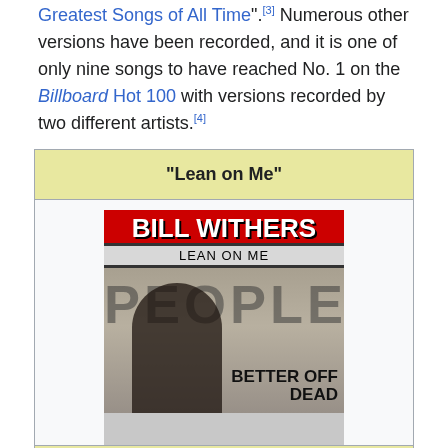Greatest Songs of All Time".[3] Numerous other versions have been recorded, and it is one of only nine songs to have reached No. 1 on the Billboard Hot 100 with versions recorded by two different artists.[4]
[Figure (other): Wikipedia infobox for 'Lean on Me' single by Bill Withers, showing the album cover with BILL WITHERS text in red, LEAN ON ME subtitle, a black and white photo of a man smiling in front of graffiti reading PEOPLE, with BETTER OFF DEAD text overlay. Below the image is a caption: Single by Bill Withers.]
Single by Bill Withers